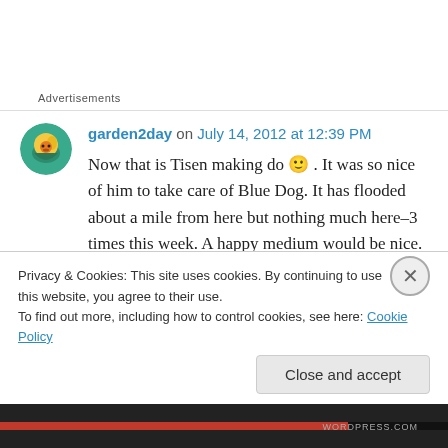Advertisements
garden2day on July 14, 2012 at 12:39 PM
Now that is Tisen making do 🙂 . It was so nice of him to take care of Blue Dog. It has flooded about a mile from here but nothing much here–3 times this week. A happy medium would be nice. I can't complain. Have a good weekend.
Privacy & Cookies: This site uses cookies. By continuing to use this website, you agree to their use.
To find out more, including how to control cookies, see here: Cookie Policy